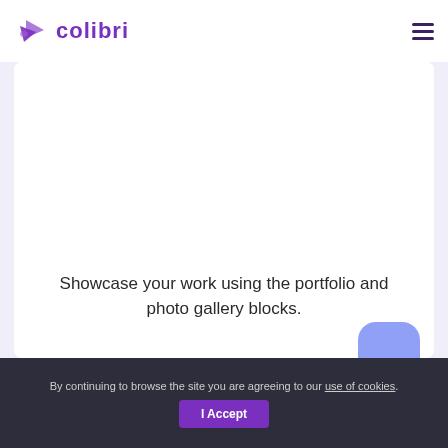colibri
[Figure (screenshot): Colibri website builder screenshot showing a card with white background and empty image area above text.]
Showcase your work using the portfolio and photo gallery blocks.
By continuing to browse the site you are agreeing to our use of cookies. I Accept